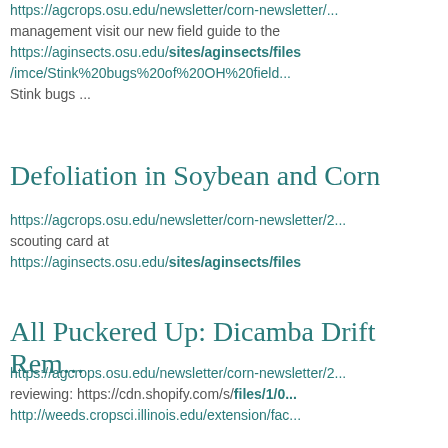https://agcrops.osu.edu/newsletter/corn-newsletter/... management visit our new field guide to the https://aginsects.osu.edu/sites/aginsects/files/imce/Stink%20bugs%20of%20OH%20field... Stink bugs ...
Defoliation in Soybean and Corn
https://agcrops.osu.edu/newsletter/corn-newsletter/2... scouting card at https://aginsects.osu.edu/sites/aginsects/files...
All Puckered Up: Dicamba Drift Rem...
https://agcrops.osu.edu/newsletter/corn-newsletter/2... reviewing: https://cdn.shopify.com/s/files/1/0... http://weeds.cropsci.illinois.edu/extension/fac...